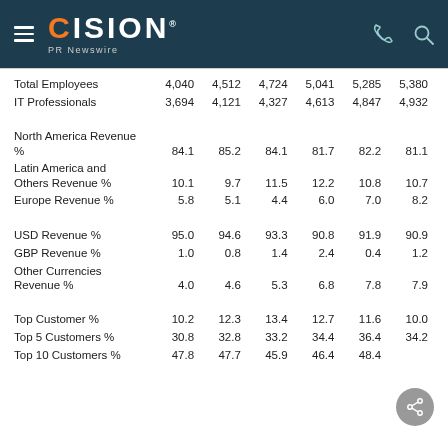CISION PR Newswire
|  | Col1 | Col2 | Col3 | Col4 | Col5 | Col6 |
| --- | --- | --- | --- | --- | --- | --- |
| Total Employees | 4,040 | 4,512 | 4,724 | 5,041 | 5,285 | 5,380 |
| IT Professionals | 3,694 | 4,121 | 4,327 | 4,613 | 4,847 | 4,932 |
| North America Revenue % | 84.1 | 85.2 | 84.1 | 81.7 | 82.2 | 81.1 |
| Latin America and Others Revenue % | 10.1 | 9.7 | 11.5 | 12.2 | 10.8 | 10.7 |
| Europe Revenue % | 5.8 | 5.1 | 4.4 | 6.0 | 7.0 | 8.2 |
| USD Revenue % | 95.0 | 94.6 | 93.3 | 90.8 | 91.9 | 90.9 |
| GBP Revenue % | 1.0 | 0.8 | 1.4 | 2.4 | 0.4 | 1.2 |
| Other Currencies Revenue % | 4.0 | 4.6 | 5.3 | 6.8 | 7.8 | 7.9 |
| Top Customer % | 10.2 | 12.3 | 13.4 | 12.7 | 11.6 | 10.0 |
| Top 5 Customers % | 30.8 | 32.8 | 33.2 | 34.4 | 36.4 | 34.2 |
| Top 10 Customers % | 47.8 | 47.7 | 45.9 | 46.4 | 48.4 |  |